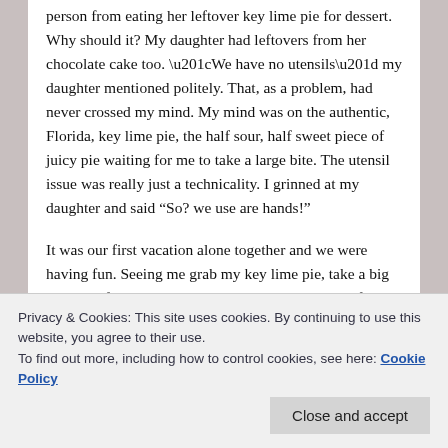person from eating her leftover key lime pie for dessert. Why should it? My daughter had leftovers from her chocolate cake too. “We have no utensils” my daughter mentioned politely. That, as a problem, had never crossed my mind. My mind was on the authentic, Florida, key lime pie, the half sour, half sweet piece of juicy pie waiting for me to take a large bite. The utensil issue was really just a technicality. I grinned at my daughter and said “So? we use are hands!”
It was our first vacation alone together and we were having fun. Seeing me grab my key lime pie, take a big bite out of it and looking quite pleased with myself, grinning widely, she was happy to put her chocolate cake
to the disgust of my two teenagers) and I’m not addicted
Privacy & Cookies: This site uses cookies. By continuing to use this website, you agree to their use.
To find out more, including how to control cookies, see here: Cookie Policy